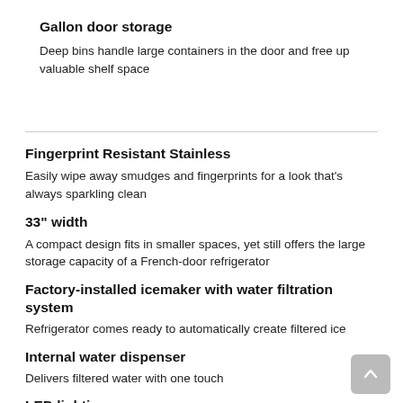Gallon door storage
Deep bins handle large containers in the door and free up valuable shelf space
Fingerprint Resistant Stainless
Easily wipe away smudges and fingerprints for a look that's always sparkling clean
33" width
A compact design fits in smaller spaces, yet still offers the large storage capacity of a French-door refrigerator
Factory-installed icemaker with water filtration system
Refrigerator comes ready to automatically create filtered ice
Internal water dispenser
Delivers filtered water with one touch
LED lighting
Find exactly what you've been looking for under crisp, clear